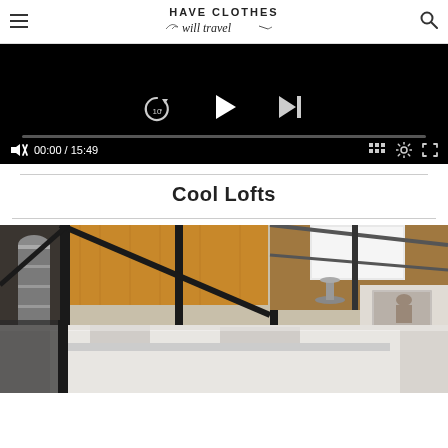HAVE CLOTHES will travel
[Figure (screenshot): Video player showing black background with replay (10s), play, and skip-forward controls; progress bar; time display 00:00 / 15:49; chapter, settings, and fullscreen icons]
Cool Lofts
[Figure (photo): Interior photo of a loft space showing industrial ceiling with exposed metal ductwork, wooden beams, black metal structural elements, skylights, a chandelier, white walls, and artwork on the right wall; lower portion shows a bright, minimal area with a desk or counter]